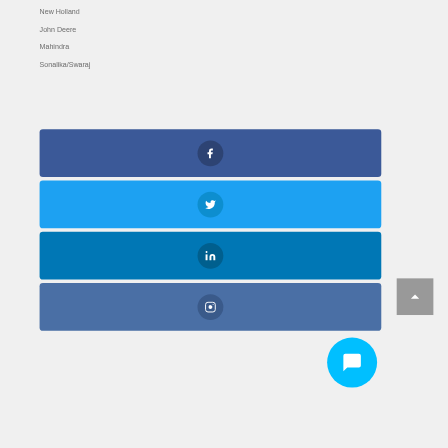New Holland
John Deere
Mahindra
Sonalika/Swaraj
[Figure (screenshot): Four social media share buttons (Facebook, Twitter, LinkedIn, Instagram) as colored rounded rectangles with white icons in darker circles. A gray back-to-top arrow button on the right. A cyan chat bubble button overlapping the bottom-right of the last row.]